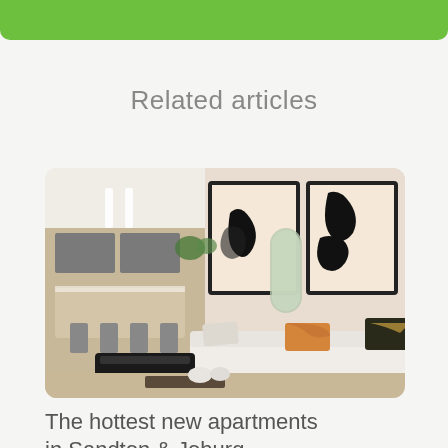[Figure (other): Green bar at top of page, partial view of a website header with rounded bottom corners]
Related articles
[Figure (photo): Interior of a modern luxury apartment living room with white sofa, colorful cushions, two large abstract black-and-white framed artworks on the wall, a kitchen and bar area in the background, and an arched mirror doorway]
The hottest new apartments in Sandton & Joburg